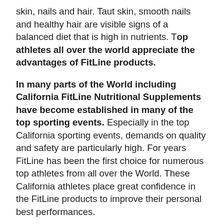skin, nails and hair. Taut skin, smooth nails and healthy hair are visible signs of a balanced diet that is high in nutrients. Top athletes all over the world appreciate the advantages of FitLine products.
In many parts of the World including California FitLine Nutritional Supplements have become established in many of the top sporting events. Especially in the top California sporting events, demands on quality and safety are particularly high. For years FitLine has been the first choice for numerous top athletes from all over the World. These California athletes place great confidence in the FitLine products to improve their personal best performances.
Like leisure and top professional and amateur sports nutrition from the FitLine series will help you to give a top performance every day. FitLine